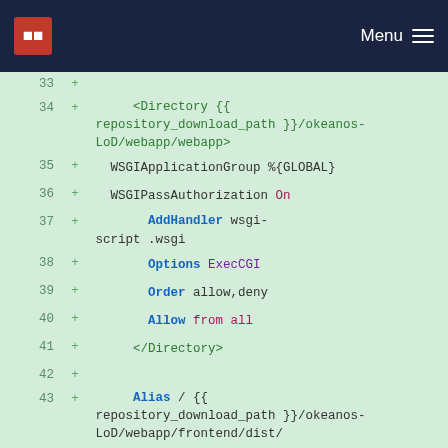Menu
[Figure (screenshot): Code diff view showing Apache configuration lines 33-45 with line numbers, plus signs, and syntax-highlighted code on a green background]